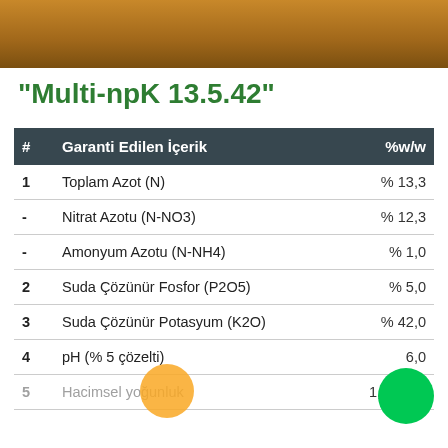[Figure (photo): Brown/gold colored background photo strip at top of page]
"Multi-npK 13.5.42"
| # | Garanti Edilen İçerik | %w/w |
| --- | --- | --- |
| 1 | Toplam Azot (N) | % 13,3 |
| - | Nitrat Azotu (N-NO3) | % 12,3 |
| - | Amonyum Azotu (N-NH4) | % 1,0 |
| 2 | Suda Çözünür Fosfor (P2O5) | % 5,0 |
| 3 | Suda Çözünür Potasyum (K2O) | % 42,0 |
| 4 | pH (% 5 çözelti) | 6,0 |
| 5 | Hacimsel yoğunluk | 1,0 g/m³ |